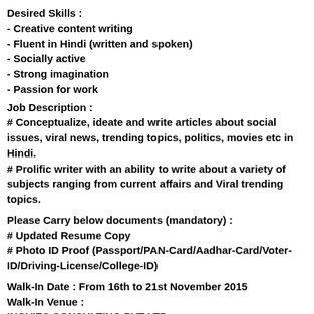Desired Skills :
- Creative content writing
- Fluent in Hindi (written and spoken)
- Socially active
- Strong imagination
- Passion for work
Job Description :
# Conceptualize, ideate and write articles about social issues, viral news, trending topics, politics, movies etc in Hindi.
# Prolific writer with an ability to write about a variety of subjects ranging from current affairs and Viral trending topics.
Please Carry below documents (mandatory) :
# Updated Resume Copy
# Photo ID Proof (Passport/PAN-Card/Aadhar-Card/Voter-ID/Driving-License/College-ID)
Walk-In Date : From 16th to 21st November 2015
Walk-In Venue :
INOVIES CONSULTING PVT LTD.,
Level 5, Plot No:57/99 and 50/109,
Survey No: 78, Patrika Nagar,
Madhapur, Hi-tech City...